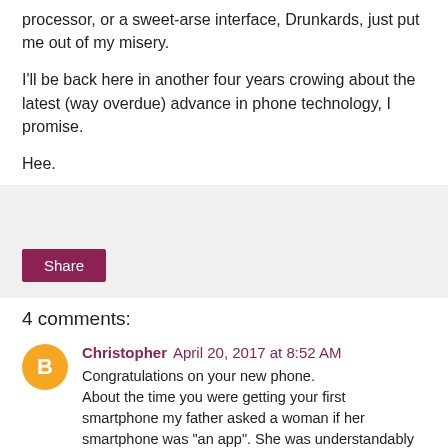processor, or a sweet-arse interface, Drunkards, just put me out of my misery.
I'll be back here in another four years crowing about the latest (way overdue) advance in phone technology, I promise.
Hee.
Share
4 comments:
Christopher April 20, 2017 at 8:52 AM
Congratulations on your new phone.
About the time you were getting your first smartphone my father asked a woman if her smartphone was "an app". She was understandably confused.